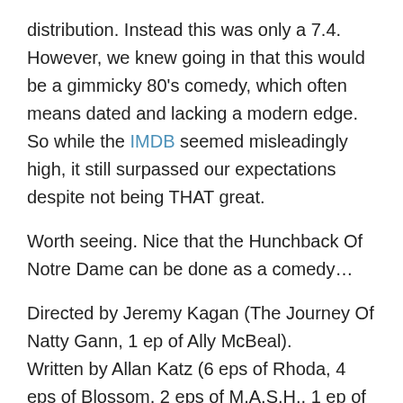distribution. Instead this was only a 7.4.  However, we knew going in that this would be a gimmicky 80's comedy, which often means dated and lacking a modern edge.  So while the IMDB seemed misleadingly high, it still surpassed our expectations despite not being THAT great.
Worth seeing. Nice that the Hunchback Of Notre Dame can be done as a comedy…
Directed by Jeremy Kagan (The Journey Of Natty Gann, 1 ep of Ally McBeal).
Written by Allan Katz (6 eps of Rhoda, 4 eps of Blossom, 2 eps of M.A.S.H., 1 ep of Roseanne).
Allan Katz (this is the only thing he's starred in, except for a movie that is in post-production dated 2013 that he is writing,starring, and directing) as Bob